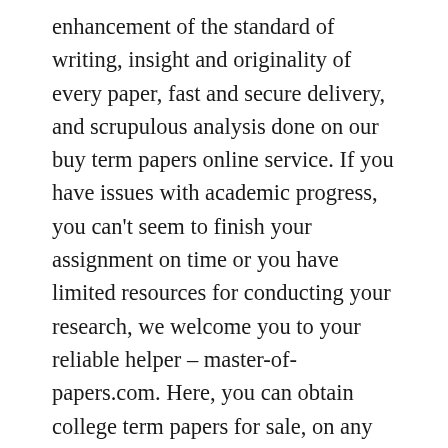enhancement of the standard of writing, insight and originality of every paper, fast and secure delivery, and scrupulous analysis done on our buy term papers online service. If you have issues with academic progress, you can't seem to finish your assignment on time or you have limited resources for conducting your research, we welcome you to your reliable helper – master-of-papers.com. Here, you can obtain college term papers for sale, on any topic, subject and difficulty. Our main priority is to ensure maximum satisfaction of the client, which is why we do our best to offer students of all levels – High School, College, University, Masters, PhD and Doctorate- with utmost quality term paper help.